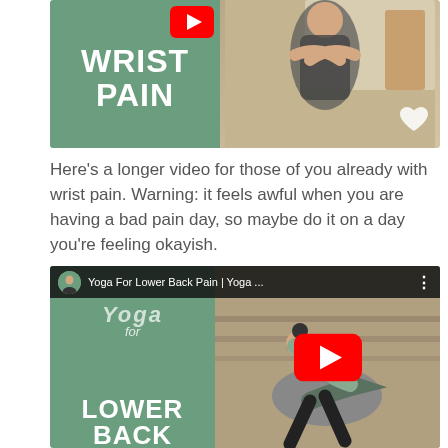[Figure (screenshot): YouTube video thumbnail for Yoga for Wrist Pain — green left panel with 'WRIST PAIN' text and YouTube play button, right panel shows woman doing a yoga wrist stretch pose with a heart icon]
Here's a longer video for those of you already with wrist pain. Warning: it feels awful when you are having a bad pain day, so maybe do it on a day you're feeling okayish.
[Figure (screenshot): YouTube video thumbnail for Yoga For Lower Back Pain — green left panel with 'YOGA for LOWER BACK' text, right panel shows woman in forward fold yoga pose with red YouTube play button overlay, top bar shows channel avatar and title 'Yoga For Lower Back Pain | Yoga ...']